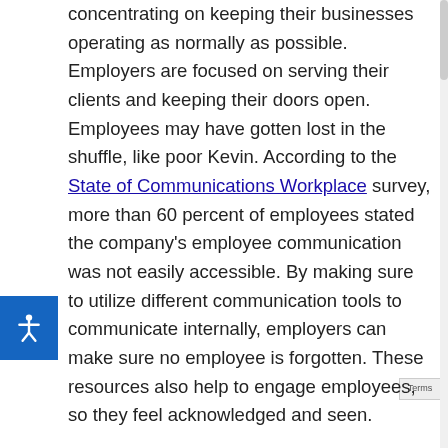concentrating on keeping their businesses operating as normally as possible. Employers are focused on serving their clients and keeping their doors open. Employees may have gotten lost in the shuffle, like poor Kevin. According to the State of Communications Workplace survey, more than 60 percent of employees stated the company's employee communication was not easily accessible. By making sure to utilize different communication tools to communicate internally, employers can make sure no employee is forgotten. These resources also help to engage employees, so they feel acknowledged and seen.

A few resources an employer could utilize in order to stay connected with their employees are: